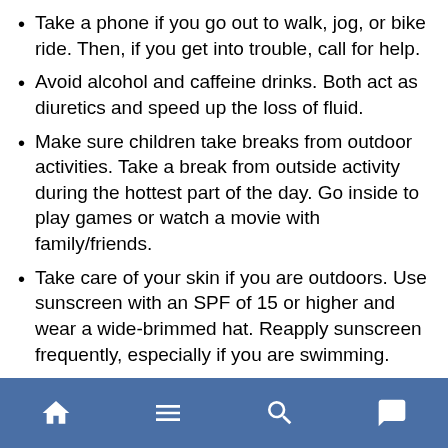Take a phone if you go out to walk, jog, or bike ride. Then, if you get into trouble, call for help.
Avoid alcohol and caffeine drinks. Both act as diuretics and speed up the loss of fluid.
Make sure children take breaks from outdoor activities. Take a break from outside activity during the hottest part of the day. Go inside to play games or watch a movie with family/friends.
Take care of your skin if you are outdoors. Use sunscreen with an SPF of 15 or higher and wear a wide-brimmed hat. Reapply sunscreen frequently, especially if you are swimming.
What to Watch For
Symptoms of heat exhaustion include cool, moist